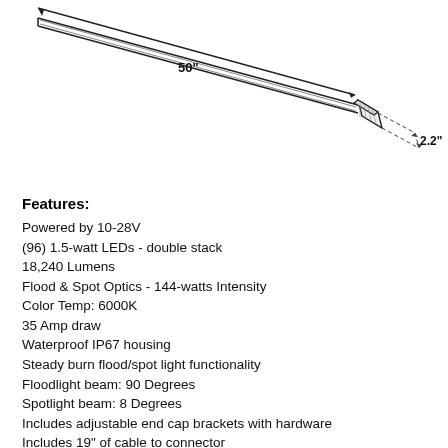[Figure (engineering-diagram): Technical line drawing of a long narrow LED light bar shown in perspective/isometric view. A double-headed arrow along the top-left edge indicates the length labeled '50"'. Dashed lines at the right end indicate the cross-section depth labeled '2.2"'. The light bar appears as a slim rectangular extrusion with a connector block at the right end.]
Features:
Powered by 10-28V
(96) 1.5-watt LEDs - double stack
18,240 Lumens
Flood & Spot Optics - 144-watts Intensity
Color Temp: 6000K
35 Amp draw
Waterproof IP67 housing
Steady burn flood/spot light functionality
Floodlight beam: 90 Degrees
Spotlight beam: 8 Degrees
Includes adjustable end cap brackets with hardware
Includes 19" of cable to connector